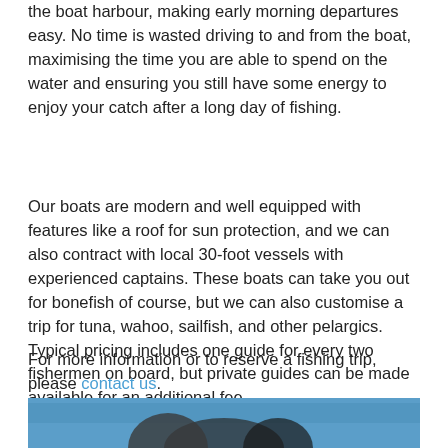The convenient location of Irish House is within 100 yards of the boat harbour, making early morning departures easy. No time is wasted driving to and from the boat, maximising the time you are able to spend on the water and ensuring you still have some energy to enjoy your catch after a long day of fishing.
Our boats are modern and well equipped with features like a roof for sun protection, and we can also contract with local 30-foot vessels with experienced captains. These boats can take you out for bonefish of course, but we can also customise a trip for tuna, wahoo, sailfish, and other pelargics. Typical pricing includes one guide for every two fishermen on board, but private guides can be made available for an additional fee.
For more information or to reserve a fishing trip, please contact us.
[Figure (photo): Two men on a boat at sea holding a large sailfish, with ocean and distant shoreline in background.]